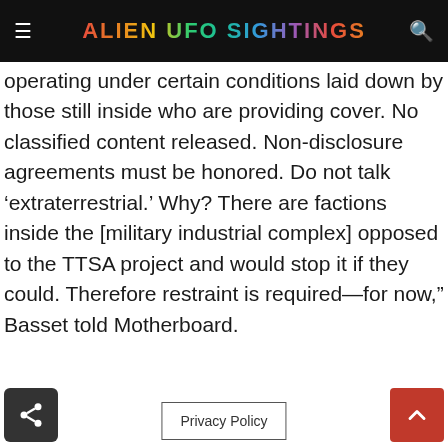ALIEN UFO SIGHTINGS
operating under certain conditions laid down by those still inside who are providing cover. No classified content released. Non-disclosure agreements must be honored. Do not talk ‘extraterrestrial.’ Why? There are factions inside the [military industrial complex] opposed to the TTSA project and would stop it if they could. Therefore restraint is required—for now,” Basset told Motherboard.
Privacy Policy